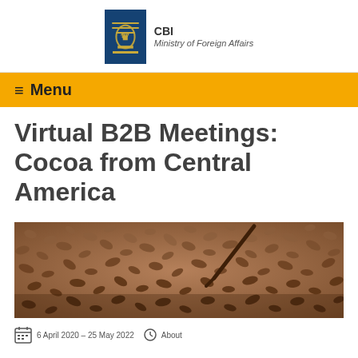[Figure (logo): CBI Ministry of Foreign Affairs logo with Dutch coat of arms on blue flag background]
≡ Menu
Virtual B2B Meetings: Cocoa from Central America
[Figure (photo): Close-up photo of cocoa beans spread out with a tool/rake visible]
6 April 2020 – 25 May 2022 | About